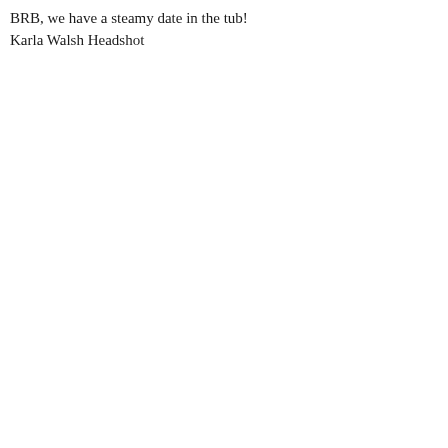BRB, we have a steamy date in the tub!
Karla Walsh Headshot